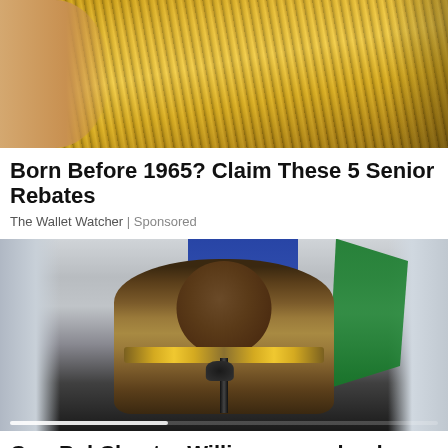[Figure (photo): Advertisement image showing hands holding US dollar bills, used in a sponsored article about senior rebates]
Born Before 1965? Claim These 5 Senior Rebates
The Wallet Watcher | Sponsored
[Figure (photo): Video thumbnail showing a police officer in uniform (ComPol Chester Williams) seated at a microphone with blue and green flags in the background]
ComPol Chester Williams says he does not